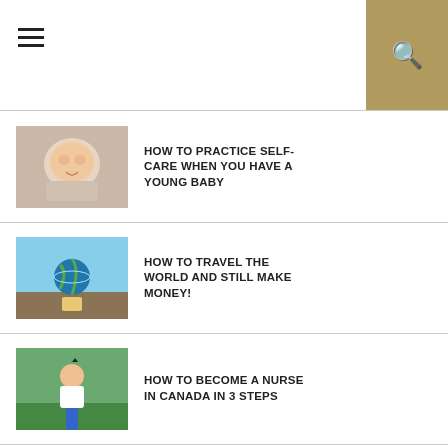Navigation header with hamburger menu and search
HOW TO PRACTICE SELF-CARE WHEN YOU HAVE A YOUNG BABY
HOW TO TRAVEL THE WORLD AND STILL MAKE MONEY!
HOW TO BECOME A NURSE IN CANADA IN 3 STEPS
JOHN LASSETER TOP BLOCKBUSTER ANIMATED MOVIES